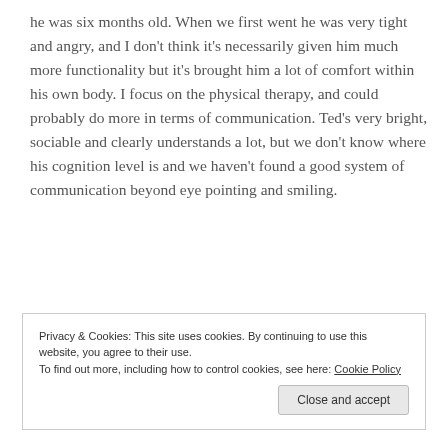he was six months old. When we first went he was very tight and angry, and I don't think it's necessarily given him much more functionality but it's brought him a lot of comfort within his own body. I focus on the physical therapy, and could probably do more in terms of communication. Ted's very bright, sociable and clearly understands a lot, but we don't know where his cognition level is and we haven't found a good system of communication beyond eye pointing and smiling.
Privacy & Cookies: This site uses cookies. By continuing to use this website, you agree to their use. To find out more, including how to control cookies, see here: Cookie Policy